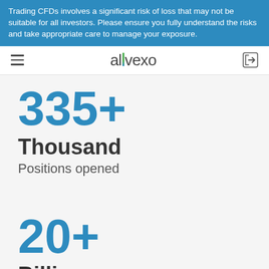Trading CFDs involves a significant risk of loss that may not be suitable for all investors. Please ensure you fully understand the risks and take appropriate care to manage your exposure.
[Figure (logo): Alvexo logo with navigation bar including hamburger menu and login icon]
335+
Thousand
Positions opened
20+
Billion